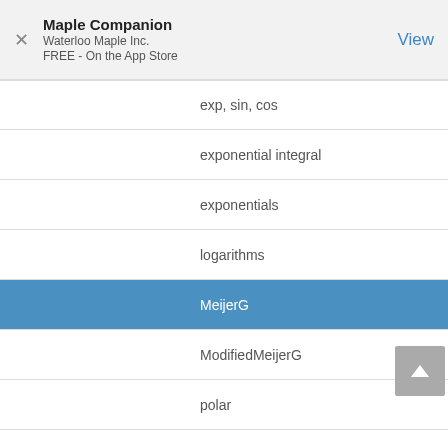[Figure (screenshot): App banner for Maple Companion by Waterloo Maple Inc., FREE on the App Store, with close button and View link]
exp, sin, cos
exponential integral
exponentials
logarithms
MeijerG
ModifiedMeijerG
polar
products
radians